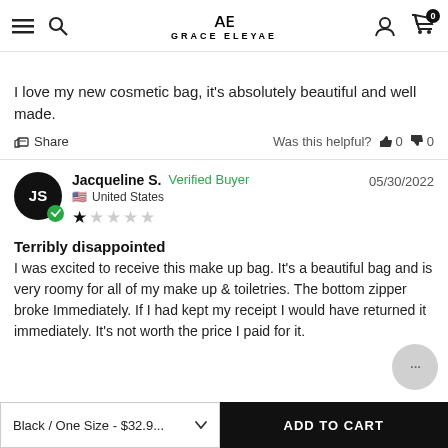GRACE ELEYAE
I love my new cosmetic bag, it's absolutely beautiful and well made.
Share   Was this helpful?  0  0
Jacqueline S.  Verified Buyer  05/30/2022  United States  ★☆☆☆☆
Terribly disappointed
I was excited to receive this make up bag. It's a beautiful bag and is very roomy for all of my make up & toiletries. The bottom zipper broke Immediately. If I had kept my receipt I would have returned it immediately. It's not worth the price I paid for it.
Black / One Size - $32.9...  ADD TO CART